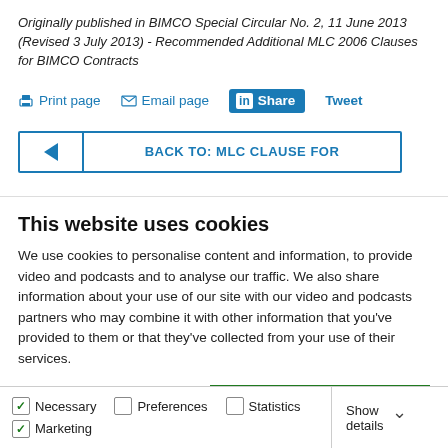Originally published in BIMCO Special Circular No. 2, 11 June 2013 (Revised 3 July 2013) - Recommended Additional MLC 2006 Clauses for BIMCO Contracts
Print page  Email page  in Share  Tweet
BACK TO: MLC CLAUSE FOR
This website uses cookies
We use cookies to personalise content and information, to provide video and podcasts and to analyse our traffic. We also share information about your use of our site with our video and podcasts partners who may combine it with other information that you've provided to them or that they've collected from your use of their services.
Allow all cookies
Allow selection
Use necessary cookies only
Necessary  Preferences  Statistics  Marketing  Show details